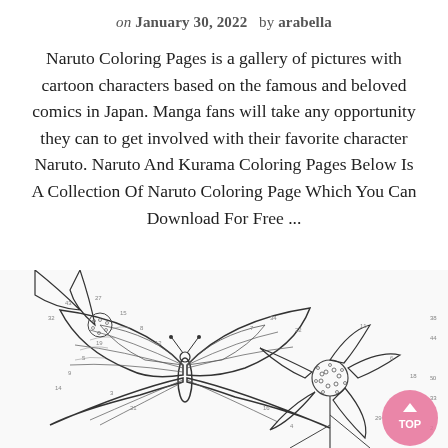on January 30, 2022  by arabella
Naruto Coloring Pages is a gallery of pictures with cartoon characters based on the famous and beloved comics in Japan. Manga fans will take any opportunity they can to get involved with their favorite character Naruto. Naruto And Kurama Coloring Pages Below Is A Collection Of Naruto Coloring Page Which You Can Download For Free ...
[Figure (illustration): Coloring page illustration showing a detailed butterfly and large flowers (cherry blossoms) in black and white line art, with small numbered sections. A pink circular 'TOP' button with an upward arrow is visible in the lower right.]